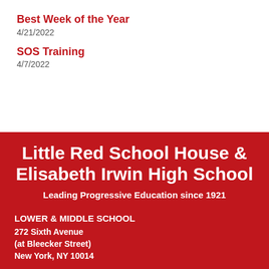Best Week of the Year
4/21/2022
SOS Training
4/7/2022
Little Red School House & Elisabeth Irwin High School
Leading Progressive Education since 1921
LOWER & MIDDLE SCHOOL
272 Sixth Avenue
(at Bleecker Street)
New York, NY 10014